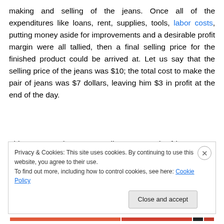making and selling of the jeans. Once all of the expenditures like loans, rent, supplies, tools, labor costs, putting money aside for improvements and a desirable profit margin were all tallied, then a final selling price for the finished product could be arrived at. Let us say that the selling price of the jeans was $10; the total cost to make the pair of jeans was $7 dollars, leaving him $3 in profit at the end of the day.
This person's plan was to sell as many pair of jeans to as many people as possible.  This person was not trying to
Privacy & Cookies: This site uses cookies. By continuing to use this website, you agree to their use.
To find out more, including how to control cookies, see here: Cookie Policy